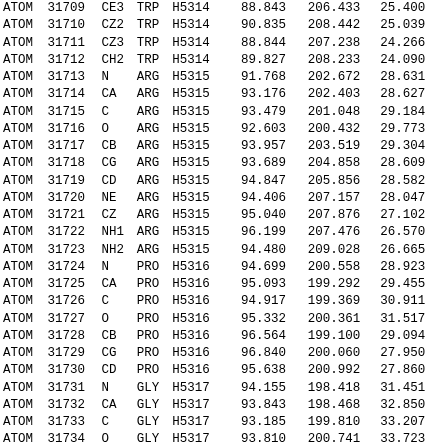| type | serial | name | res | chain | x | y | z | ... |
| --- | --- | --- | --- | --- | --- | --- | --- | --- |
| ATOM | 31709 | CE3 | TRP | H5314 | 88.843 | 206.433 | 25.400 |  |
| ATOM | 31710 | CZ2 | TRP | H5314 | 90.835 | 208.442 | 25.039 |  |
| ATOM | 31711 | CZ3 | TRP | H5314 | 88.844 | 207.238 | 24.266 |  |
| ATOM | 31712 | CH2 | TRP | H5314 | 89.827 | 208.233 | 24.090 |  |
| ATOM | 31713 | N | ARG | H5315 | 91.768 | 202.672 | 28.631 |  |
| ATOM | 31714 | CA | ARG | H5315 | 93.176 | 202.403 | 28.627 |  |
| ATOM | 31715 | C | ARG | H5315 | 93.479 | 201.048 | 29.184 |  |
| ATOM | 31716 | O | ARG | H5315 | 92.603 | 200.432 | 29.773 |  |
| ATOM | 31717 | CB | ARG | H5315 | 93.957 | 203.519 | 29.304 |  |
| ATOM | 31718 | CG | ARG | H5315 | 93.689 | 204.858 | 28.609 |  |
| ATOM | 31719 | CD | ARG | H5315 | 94.847 | 205.856 | 28.582 |  |
| ATOM | 31720 | NE | ARG | H5315 | 94.406 | 207.157 | 28.047 |  |
| ATOM | 31721 | CZ | ARG | H5315 | 95.040 | 207.876 | 27.102 |  |
| ATOM | 31722 | NH1 | ARG | H5315 | 96.199 | 207.476 | 26.570 |  |
| ATOM | 31723 | NH2 | ARG | H5315 | 94.480 | 209.028 | 26.665 |  |
| ATOM | 31724 | N | PRO | H5316 | 94.699 | 200.558 | 28.923 |  |
| ATOM | 31725 | CA | PRO | H5316 | 95.093 | 199.292 | 29.455 |  |
| ATOM | 31726 | C | PRO | H5316 | 94.917 | 199.369 | 30.911 |  |
| ATOM | 31727 | O | PRO | H5316 | 95.332 | 200.361 | 31.517 |  |
| ATOM | 31728 | CB | PRO | H5316 | 96.564 | 199.100 | 29.094 |  |
| ATOM | 31729 | CG | PRO | H5316 | 96.840 | 200.060 | 27.950 |  |
| ATOM | 31730 | CD | PRO | H5316 | 95.638 | 200.992 | 27.860 |  |
| ATOM | 31731 | N | GLY | H5317 | 94.155 | 198.418 | 31.451 |  |
| ATOM | 31732 | CA | GLY | H5317 | 93.843 | 198.468 | 32.850 |  |
| ATOM | 31733 | C | GLY | H5317 | 93.185 | 199.810 | 33.207 |  |
| ATOM | 31734 | O | GLY | H5317 | 93.810 | 200.741 | 33.723 |  |
| ATOM | 31735 | N | SER | H5318 | 91.959 | 199.953 | 32.808 |  |
| ATOM | 31736 | CA | SER | H5318 | 91.229 | 201.111 | 33.165 |  |
| ATOM | 31737 | C | SER | H5318 | 90.390 | 200.673 | 34.395 |  |
| ATOM | 31738 | O | SER | H5318 | 89.792 | 201.475 | 35.109 |  |
| ATOM | 31739 | CB | SER | H5318 | 90.304 | 201.477 | 32.001 |  |